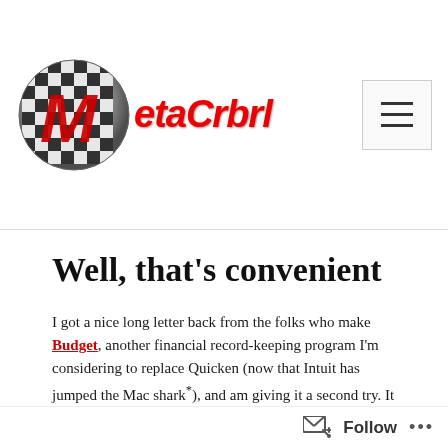[Figure (logo): MetaCrbrl website logo with a checkered globe and red italic stylized text 'MetaCrbrl']
Well, that's convenient
I got a nice long letter back from the folks who make Budget, another financial record-keeping program I'm considering to replace Quicken (now that Intuit has jumped the Mac shark*), and am giving it a second try. It has a very different mental model than Quicken so it's a tough transition, but I like the style of it a little better than the business ledger flavor of Liquid Ledger. If I had lots of investments and bought stocks and such, Liquid Ledger would be better for me, but I'm starting to think the friendly simplicity of Budget might do the trick.
Follow